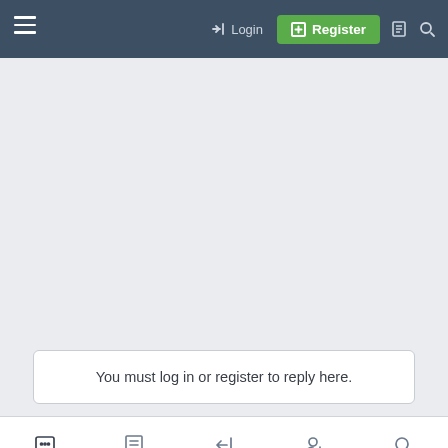Login  Register
You must log in or register to reply here.
Forums  What's New  Log In  Register  Search